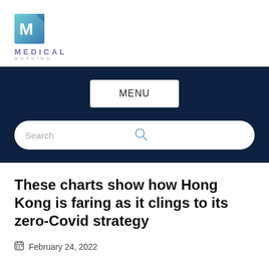[Figure (logo): Medical Morning logo with stylized M icon in teal/blue gradient and text MEDICAL MORNING below]
MENU
Search
These charts show how Hong Kong is faring as it clings to its zero-Covid strategy
February 24, 2022